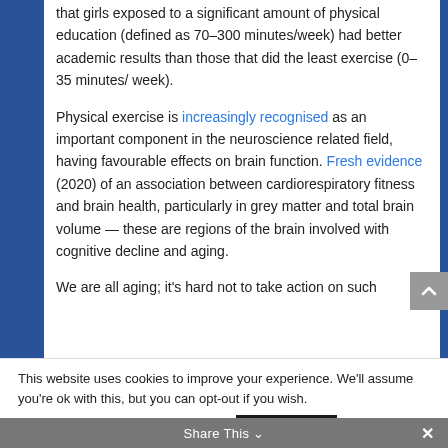that girls exposed to a significant amount of physical education (defined as 70–300 minutes/week) had better academic results than those that did the least exercise (0–35 minutes/ week).
Physical exercise is increasingly recognised as an important component in the neuroscience related field, having favourable effects on brain function. Fresh evidence (2020) of an association between cardiorespiratory fitness and brain health, particularly in grey matter and total brain volume — these are regions of the brain involved with cognitive decline and aging.
We are all aging; it's hard not to take action on such
This website uses cookies to improve your experience. We'll assume you're ok with this, but you can opt-out if you wish.
Cookie settings  ACCEPT
Share This